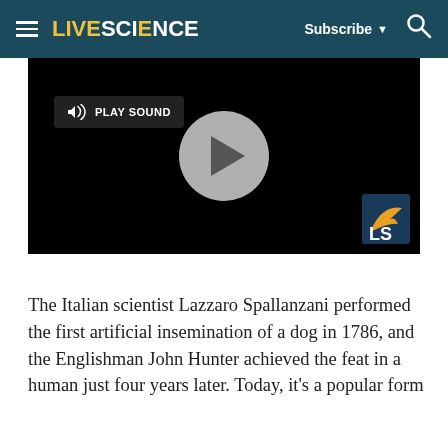LIVESCIENCE  Subscribe  🔍
[Figure (screenshot): Video player with black background, a gray circular play button in the center, and a 'PLAY SOUND' button with speaker icon on the left. LiveScience logo visible in lower right corner of video area.]
The Italian scientist Lazzaro Spallanzani performed the first artificial insemination of a dog in 1786, and the Englishman John Hunter achieved the feat in a human just four years later. Today, it's a popular form